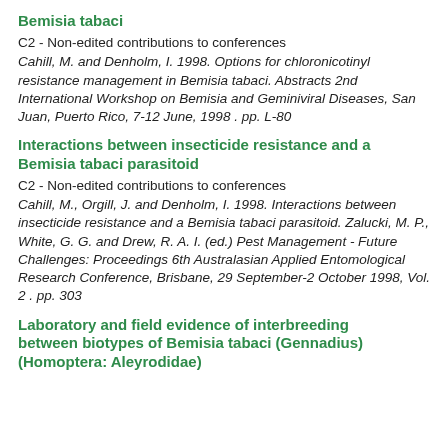Bemisia tabaci
C2 - Non-edited contributions to conferences
Cahill, M. and Denholm, I. 1998. Options for chloronicotinyl resistance management in Bemisia tabaci. Abstracts 2nd International Workshop on Bemisia and Geminiviral Diseases, San Juan, Puerto Rico, 7-12 June, 1998 . pp. L-80
Interactions between insecticide resistance and a Bemisia tabaci parasitoid
C2 - Non-edited contributions to conferences
Cahill, M., Orgill, J. and Denholm, I. 1998. Interactions between insecticide resistance and a Bemisia tabaci parasitoid. Zalucki, M. P., White, G. G. and Drew, R. A. I. (ed.) Pest Management - Future Challenges: Proceedings 6th Australasian Applied Entomological Research Conference, Brisbane, 29 September-2 October 1998, Vol. 2 . pp. 303
Laboratory and field evidence of interbreeding between biotypes of Bemisia tabaci (Gennadius) (Homoptera: Aleyrodidae)